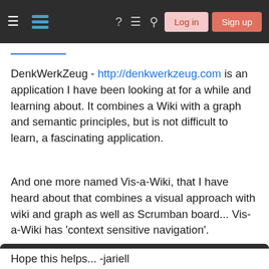Stack Exchange navigation bar with Log in and Sign up buttons
DenkWerkZeug - http://denkwerkzeug.com is an application I have been looking at for a while and learning about. It combines a Wiki with a graph and semantic principles, but is not difficult to learn, a fascinating application.
And one more named Vis-a-Wiki, that I have heard about that combines a visual approach with wiki and graph as well as Scrumban board... Vis-a-Wiki has 'context sensitive navigation'.
Your privacy
By clicking "Accept all cookies", you agree Stack Exchange can store cookies on your device and disclose information in accordance with our Cookie Policy.
Accept all cookies
Customize settings
Hope this helps... -jariell